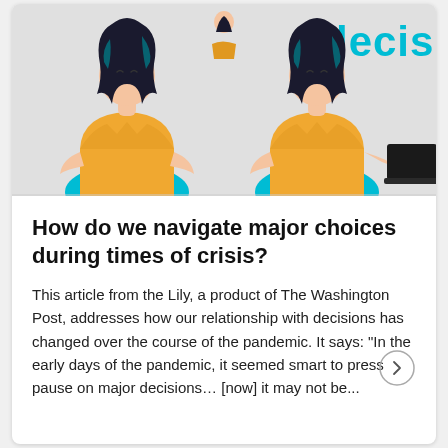[Figure (illustration): Illustration showing two women in yellow tops with dark teal/black wavy hair, sitting. One faces left, one faces right. A small figure is above between them. Partial cyan text 'decis' visible top right corner. The right figure has a dark laptop to her right side. Teal circular shapes at the bottom of each figure.]
How do we navigate major choices during times of crisis?
This article from the Lily, a product of The Washington Post, addresses how our relationship with decisions has changed over the course of the pandemic. It says: "In the early days of the pandemic, it seemed smart to press pause on major decisions… [now] it may not be...